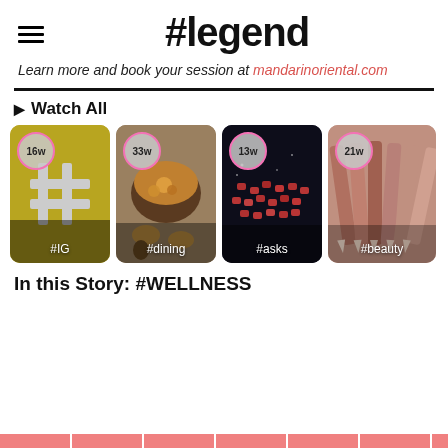#legend
Learn more and book your session at mandarinoriental.com
▶ Watch All
[Figure (photo): Four content category cards in a horizontal row: #IG (gold background with hashtag symbol, 16w badge), #dining (food bowl photo, 33w badge), #asks (dark background with red berries, 13w badge), #beauty (rose gold makeup pencils, 21w badge)]
In this Story: #WELLNESS